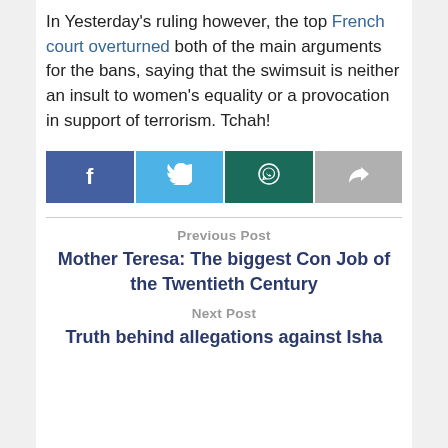In Yesterday's ruling however, the top French court overturned both of the main arguments for the bans, saying that the swimsuit is neither an insult to women's equality or a provocation in support of terrorism. Tchah!
[Figure (infographic): Four social sharing buttons: Facebook (dark blue), Twitter (light blue), WhatsApp (dark teal), and a share button (grey), each with corresponding white icons.]
Previous Post
Mother Teresa: The biggest Con Job of the Twentieth Century
Next Post
Truth behind allegations against Isha